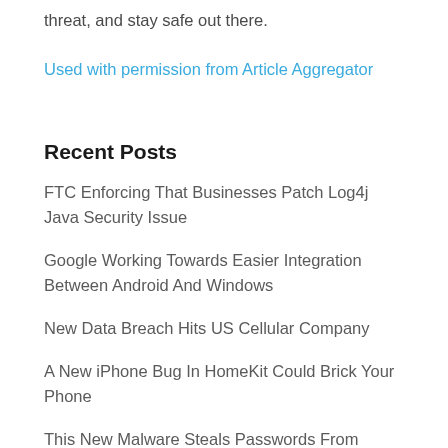threat, and stay safe out there.
Used with permission from Article Aggregator
Recent Posts
FTC Enforcing That Businesses Patch Log4j Java Security Issue
Google Working Towards Easier Integration Between Android And Windows
New Data Breach Hits US Cellular Company
A New iPhone Bug In HomeKit Could Brick Your Phone
This New Malware Steals Passwords From Popular Browsers